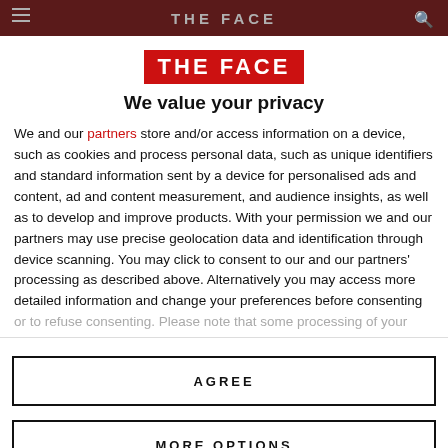THE FACE
[Figure (logo): THE FACE logo in white text on red background]
We value your privacy
We and our partners store and/or access information on a device, such as cookies and process personal data, such as unique identifiers and standard information sent by a device for personalised ads and content, ad and content measurement, and audience insights, as well as to develop and improve products. With your permission we and our partners may use precise geolocation data and identification through device scanning. You may click to consent to our and our partners' processing as described above. Alternatively you may access more detailed information and change your preferences before consenting or to refuse consenting. Please note that some processing of your
AGREE
MORE OPTIONS